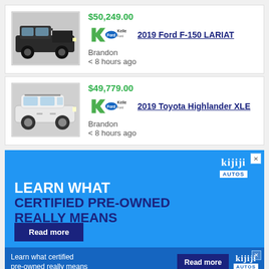[Figure (photo): Black 2019 Ford F-150 LARIAT truck photo thumbnail]
$50,249.00
[Figure (logo): Kelleher Ford dealer logo]
2019 Ford F-150 LARIAT
Brandon
< 8 hours ago
[Figure (photo): White 2019 Toyota Highlander XLE SUV photo thumbnail]
$49,779.00
[Figure (logo): Kelleher Ford dealer logo]
2019 Toyota Highlander XLE
Brandon
< 8 hours ago
[Figure (infographic): Kijiji Autos advertisement banner. Blue background with text: LEARN WHAT CERTIFIED PRE-OWNED REALLY MEANS and a Read more button. Second smaller bar: Learn what certified pre-owned really means | Read more | kijiji AUTOS]